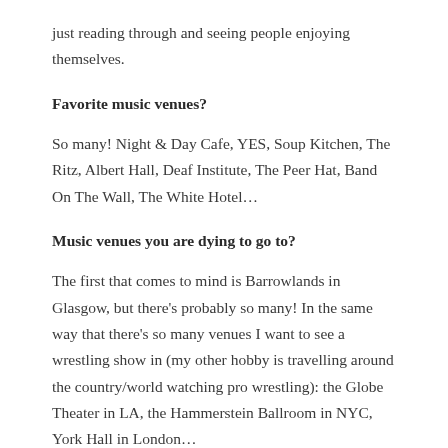just reading through and seeing people enjoying themselves.
Favorite music venues?
So many! Night & Day Cafe, YES, Soup Kitchen, The Ritz, Albert Hall, Deaf Institute, The Peer Hat, Band On The Wall, The White Hotel…
Music venues you are dying to go to?
The first that comes to mind is Barrowlands in Glasgow, but there's probably so many! In the same way that there's so many venues I want to see a wrestling show in (my other hobby is travelling around the country/world watching pro wrestling): the Globe Theater in LA, the Hammerstein Ballroom in NYC, York Hall in London…